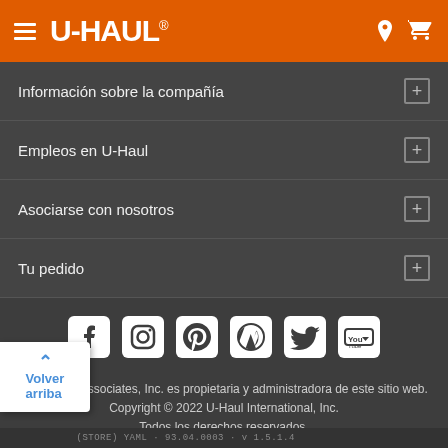U-HAUL
Información sobre la compañía
Empleos en U-Haul
Asociarse con nosotros
Tu pedido
[Figure (infographic): Social media icons row: Facebook, Instagram, Pinterest, WordPress, Twitter, YouTube]
Web Team Associates, Inc. es propietaria y administradora de este sitio web. Copyright © 2022 U-Haul International, Inc. Todos los derechos reservados.
Arbitraje  |  Política de privacidad  |  Términos de uso  |  Política de retirada por violación de los derechos de autor  |  Ubicaciones de U-Haul
Volver arriba